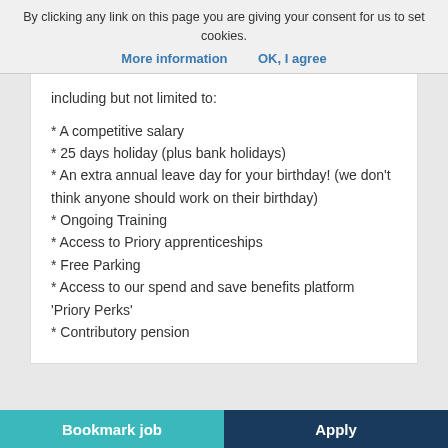By clicking any link on this page you are giving your consent for us to set cookies.
More information   OK, I agree
including but not limited to:
* A competitive salary
* 25 days holiday (plus bank holidays)
* An extra annual leave day for your birthday! (we don't think anyone should work on their birthday)
* Ongoing Training
* Access to Priory apprenticeships
* Free Parking
* Access to our spend and save benefits platform 'Priory Perks'
* Contributory pension
Bookmark job   Apply